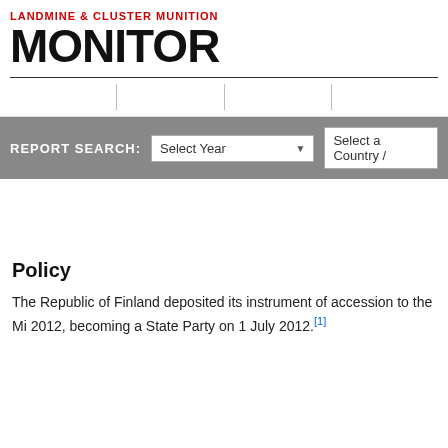[Figure (logo): Landmine & Cluster Munition Monitor logo with red subtitle text and large black distressed MONITOR text]
Policy
The Republic of Finland deposited its instrument of accession to the Mi... 2012, becoming a State Party on 1 July 2012.[1]